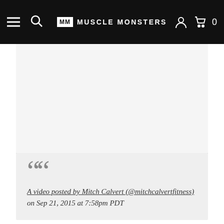MM MUSCLE MONSTERS
A video posted by Mitch Calvert (@mitchcalvertfiness) on Sep 21, 2015 at 7:58pm PDT